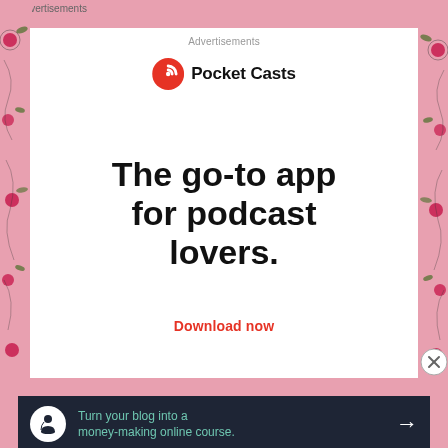Advertisements
[Figure (logo): Pocket Casts logo: red circle with white headphone/C icon, followed by bold text 'Pocket Casts']
The go-to app for podcast lovers.
Download now
Advertisements
[Figure (infographic): Dark navy ad banner: white circle icon with a tree/person symbol, green text 'Turn your blog into a money-making online course.' with white right arrow]